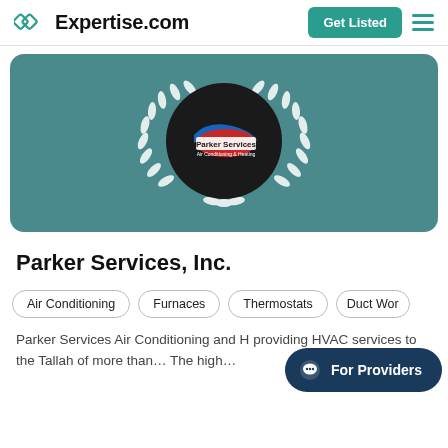Expertise.com
[Figure (logo): Parker Services Air Conditioning & Heating company logo inside a dark circle with white laurel wreath on teal background]
Parker Services, Inc.
Air Conditioning
Furnaces
Thermostats
Duct Wor…
Parker Services Air Conditioning and H… providing HVAC services to the Tallah… of more than…The high…